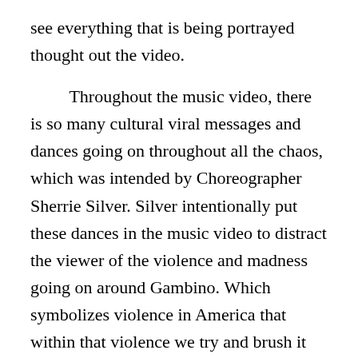see everything that is being portrayed thought out the video.

Throughout the music video, there is so many cultural viral messages and dances going on throughout all the chaos, which was intended by Choreographer Sherrie Silver. Silver intentionally put these dances in the music video to distract the viewer of the violence and madness going on around Gambino. Which symbolizes violence in America that within that violence we try and brush it underneath the rug with a viral dance or something that is going viral at the time to distract us from what’s actually going on. Genius interviewed Silver and she had this to say about the choreographed scene of Gambino dancing just after being fired at by police officers. Silver says, “This is what it’s like.